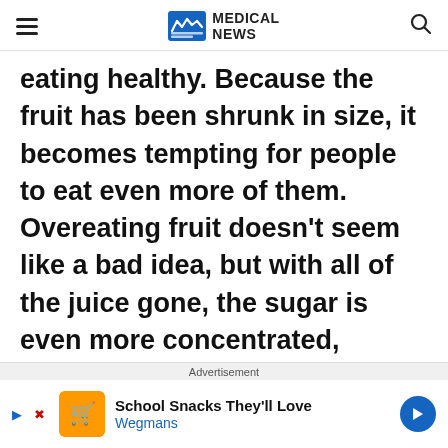MEDICAL NEWS
eating healthy. Because the fruit has been shrunk in size, it becomes tempting for people to eat even more of them. Overeating fruit doesn't seem like a bad idea, but with all of the juice gone, the sugar is even more concentrated, resulting in more sugar being digested by the body and putting on more weight. Whole fruit is a much better option, and it
Advertisement
School Snacks They'll Love Wegmans